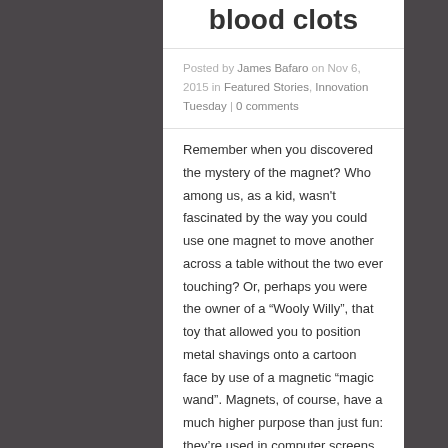blood clots
Posted by James Bafaro on Nov 6, 2015 in Featured Stories, Innovation Tuesday | 0 comments
Remember when you discovered the mystery of the magnet? Who among us, as a kid, wasn't fascinated by the way you could use one magnet to move another across a table without the two ever touching? Or, perhaps you were the owner of a “Wooly Willy”, that toy that allowed you to position metal shavings onto a cartoon face by use of a magnetic “magic wand”. Magnets, of course, have a much higher purpose than just fun: they’re used in computer screens and credit cards, and among other disciplines, in chemistry and medicine. And it’s with a